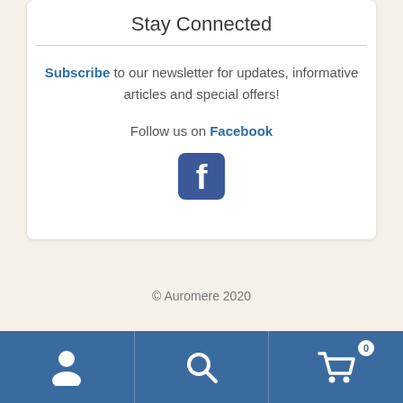Stay Connected
Subscribe to our newsletter for updates, informative articles and special offers!
Follow us on Facebook
[Figure (logo): Facebook icon - blue rounded square with white 'f' letter]
© Auromere 2020
[Figure (infographic): Bottom navigation bar with person/user icon, search/magnify icon, and shopping cart icon with badge showing 0]